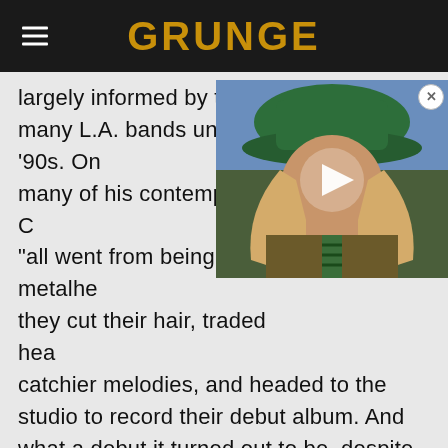GRUNGE
largely informed by the stylistic change many L.A. bands underwent in the early '90s. On many of his contemporaries, C "all went from being metalheads, they cut their hair, traded heavy catchier melodies, and headed to the studio to record their debut album. And what a debut it turned out to be, despite those initial misgivings about a cleaner, shinier sound.
[Figure (photo): Video thumbnail showing a man with long hair wearing a green hat and suit with a striped tie, with a play button overlay]